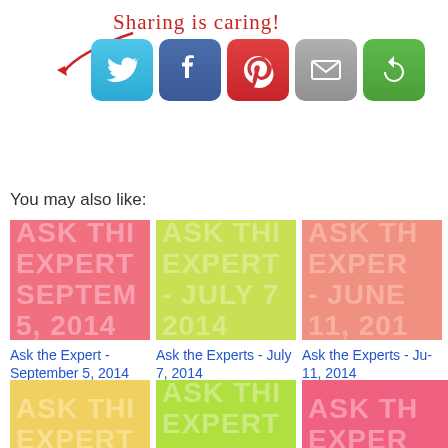[Figure (infographic): Sharing is caring! social share buttons: Twitter, Facebook, Pinterest, Email, and a green share button with circular arrows, with a red arrow pointing to them and handwritten text 'Sharing is caring!']
You may also like:
[Figure (infographic): Pink thumbnail with text ASK THE EXPERT SEPTEMBER 5, 2014]
Ask the Expert - September 5, 2014
[Figure (infographic): Yellow-green thumbnail with text ASK THE EXPERT - JULY 7, 2014]
Ask the Experts - July 7, 2014
[Figure (infographic): Salmon thumbnail with text ASK THE EXPERT - JUNE 11, 2014]
Ask the Experts - June 11, 2014
[Figure (infographic): Yellow thumbnail with text ASK THE EXPERT - APRIL]
[Figure (infographic): Lime green thumbnail with text ASK THE EXPERT - MARCH]
[Figure (infographic): Hot pink thumbnail with text ASK THE EXPERT - JULY]